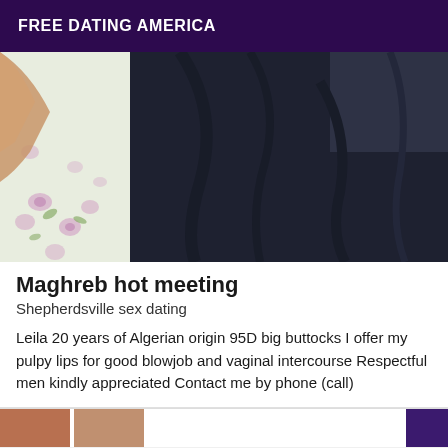FREE DATING AMERICA
[Figure (photo): Close-up photograph of a person wearing dark navy/black clothing, with a floral-patterned light fabric visible in the lower left corner.]
Maghreb hot meeting
Shepherdsville sex dating
Leila 20 years of Algerian origin 95D big buttocks I offer my pulpy lips for good blowjob and vaginal intercourse Respectful men kindly appreciated Contact me by phone (call)
[Figure (photo): Partial view of another listing card at the bottom of the page, showing thumbnail images and a purple element.]